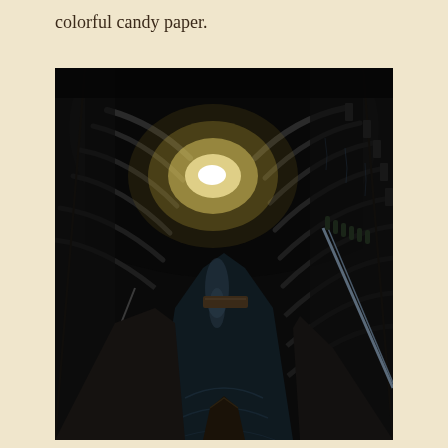colorful candy paper.
[Figure (photo): A dark tunnel with an arched stone ceiling. A narrow waterway runs through the center of the tunnel, reflecting light. There is a light source visible at the far end of the tunnel. Stone/brick walls line both sides, and a metal railing is visible on the right side.]